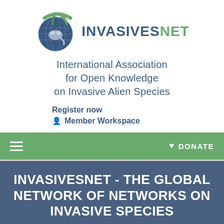[Figure (logo): InvasivesNet logo: a circular emblem showing a globe with a green leaf and a crab/animal silhouette, with a teal/green curved shape behind it, next to the text INVASIVESNET in dark blue and green.]
International Association for Open Knowledge on Invasive Alien Species
Register now
👤 Member Workspace
≡   ♥ DONATE
INVASIVESNET - THE GLOBAL NETWORK OF NETWORKS ON INVASIVE SPECIES